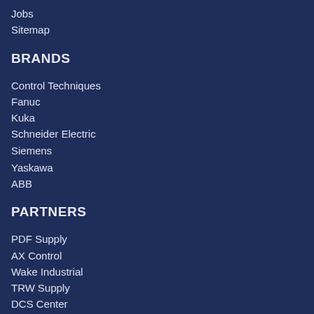Jobs
Sitemap
BRANDS
Control Techniques
Fanuc
Kuka
Schneider Electric
Siemens
Yaskawa
ABB
PARTNERS
PDF Supply
AX Control
Wake Industrial
TRW Supply
DCS Center
DO Supply